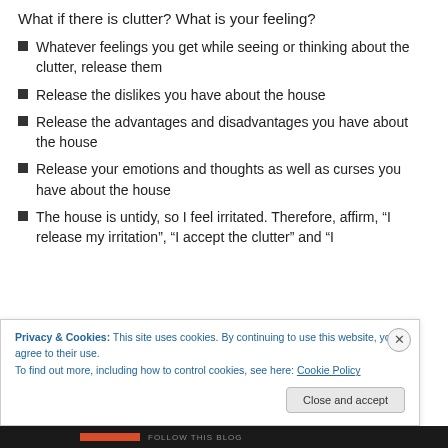What if there is clutter? What is your feeling?
Whatever feelings you get while seeing or thinking about the clutter, release them
Release the dislikes you have about the house
Release the advantages and disadvantages you have about the house
Release your emotions and thoughts as well as curses you have about the house
The house is untidy, so I feel irritated. Therefore, affirm, “I release my irritation”, “I accept the clutter” and “I …”
Privacy & Cookies: This site uses cookies. By continuing to use this website, you agree to their use.
To find out more, including how to control cookies, see here: Cookie Policy